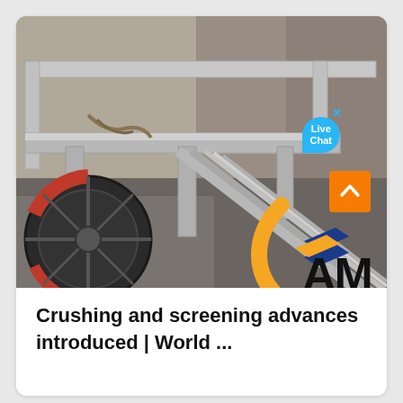[Figure (photo): Industrial crushing and screening machinery — metal frame structure with conveyor components, large wheel with red and black detail, diagonal metal bars, rocky/gravel ground background. An 'AM' company logo (orange arc bracket with blue and orange chevron) is partially visible in the lower right corner. A 'Live Chat' speech bubble widget in cyan appears overlaid on the image. A small 'x' close button is near the chat bubble. An orange back-to-top arrow button is in the lower right.]
Crushing and screening advances introduced | World ...